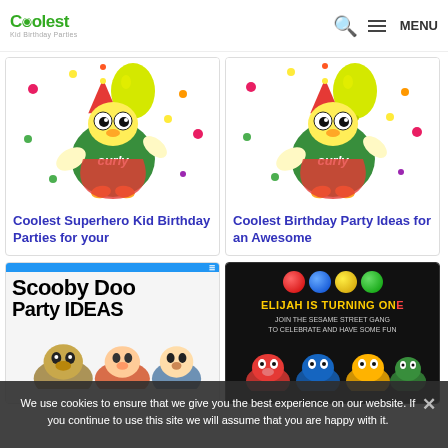Coolest Kid Birthday Parties — MENU
[Figure (illustration): Curly the duck character with party hat and yellow balloon, colorful confetti dots on white background]
Coolest Superhero Kid Birthday Parties for your
[Figure (illustration): Curly the duck character with party hat and yellow balloon, colorful confetti dots on white background (duplicate card)]
Coolest Birthday Party Ideas for an Awesome
[Figure (screenshot): Scooby Doo Party IDEAS text with blue header bar]
[Figure (screenshot): ELIJAH IS TURNING ONE — JOIN THE SESAME STREET GANG dark themed birthday party invite with colorful balls]
We use cookies to ensure that we give you the best experience on our website. If you continue to use this site we will assume that you are happy with it.